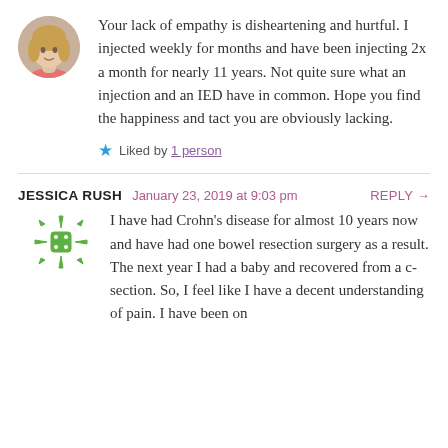[Figure (photo): Circular avatar photo of a woman with blonde hair wearing a pink top]
Your lack of empathy is disheartening and hurtful. I injected weekly for months and have been injecting 2x a month for nearly 11 years. Not quite sure what an injection and an IED have in common. Hope you find the happiness and tact you are obviously lacking.
★ Liked by 1 person
JESSICA RUSH   January 23, 2019 at 9:03 pm   REPLY →
[Figure (logo): Green spiky star/snowflake avatar icon for Jessica Rush]
I have had Crohn's disease for almost 10 years now and have had one bowel resection surgery as a result. The next year I had a baby and recovered from a c-section. So, I feel like I have a decent understanding of pain. I have been on